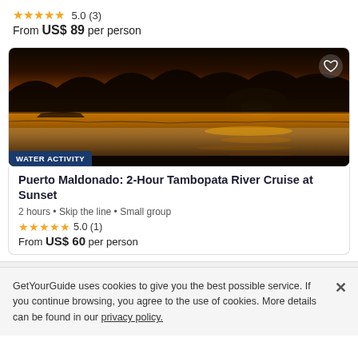★★★★★ 5.0 (3)
From US$ 89 per person
[Figure (photo): Sunset river cruise photo showing a golden sunset reflecting on a wide river with silhouetted treeline in the background. Badge reads: WATER ACTIVITY]
Puerto Maldonado: 2-Hour Tambopata River Cruise at Sunset
2 hours • Skip the line • Small group
★★★★★ 5.0 (1)
From US$ 60 per person
GetYourGuide uses cookies to give you the best possible service. If you continue browsing, you agree to the use of cookies. More details can be found in our privacy policy.